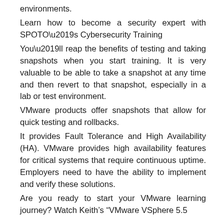environments.
Learn how to become a security expert with SPOTO’s Cybersecurity Training
You’ll reap the benefits of testing and taking snapshots when you start training. It is very valuable to be able to take a snapshot at any time and then revert to that snapshot, especially in a lab or test environment.
VMware products offer snapshots that allow for quick testing and rollbacks.
It provides Fault Tolerance and High Availability (HA). VMware provides high availability features for critical systems that require continuous uptime. Employers need to have the ability to implement and verify these solutions.
Are you ready to start your VMware learning journey? Watch Keith’s “VMware VSphere 5.5